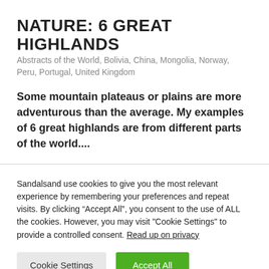NATURE: 6 GREAT HIGHLANDS
Abstracts of the World, Bolivia, China, Mongolia, Norway, Peru, Portugal, United Kingdom
Some mountain plateaus or plains are more adventurous than the average. My examples of 6 great highlands are from different parts of the world....
Sandalsand use cookies to give you the most relevant experience by remembering your preferences and repeat visits. By clicking “Accept All”, you consent to the use of ALL the cookies. However, you may visit "Cookie Settings" to provide a controlled consent. Read up on privacy